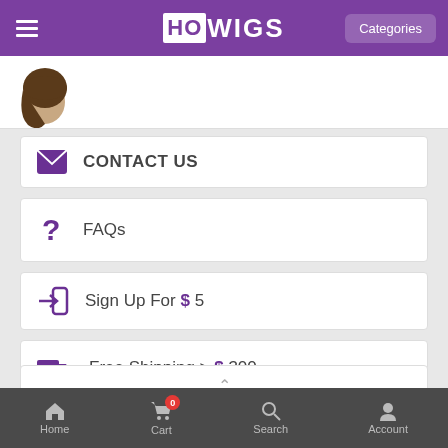HOWIGS — Categories
[Figure (photo): Partial view of a woman wearing a wig, hair visible from behind]
CONTACT US
FAQs
Sign Up For $ 5
Free Shipping > $ 300
TOP OF PAGE
Home  Cart  Search  Account